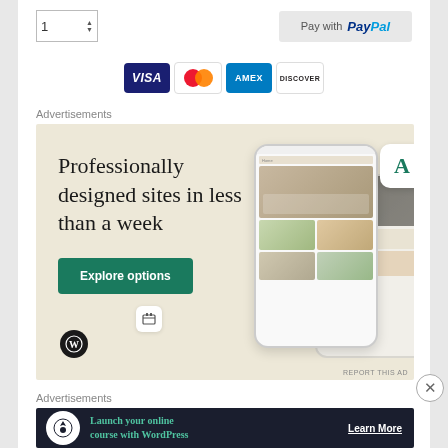[Figure (screenshot): Quantity selector box showing '1' with up/down arrows, and PayPal payment button]
[Figure (screenshot): Payment card logos: Visa, Mastercard, AMEX, Discover]
Advertisements
[Figure (illustration): WordPress advertisement: 'Professionally designed sites in less than a week' with Explore options button, WordPress logo, and phone mockup showing website designs]
Advertisements
[Figure (illustration): WordPress advertisement banner: 'Launch your online course with WordPress' with Learn More button on dark background]